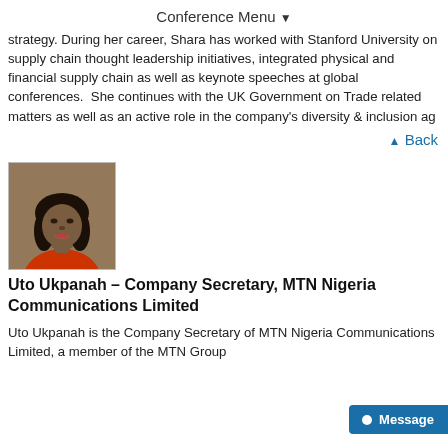Conference Menu ▾
strategy. During her career, Shara has worked with Stanford University on supply chain thought leadership initiatives, integrated physical and financial supply chain as well as keynote speeches at global conferences. She continues to work with the UK Government on Trade related matters as well as play an active role in the company's diversity & inclusion ag...
▲ Back
[Figure (photo): Headshot of Uto Ukpanah, a woman wearing a red jacket, against a blurred background]
Uto Ukpanah – Company Secretary, MTN Nigeria Communications Limited
Uto Ukpanah is the Company Secretary of MTN Nigeria Communications Limited, a member of the MTN Group...